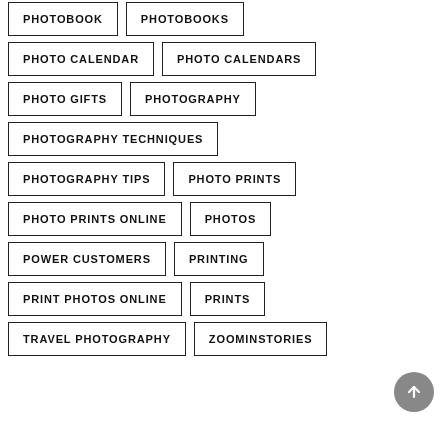PHOTOBOOK
PHOTOBOOKS
PHOTO CALENDAR
PHOTO CALENDARS
PHOTO GIFTS
PHOTOGRAPHY
PHOTOGRAPHY TECHNIQUES
PHOTOGRAPHY TIPS
PHOTO PRINTS
PHOTO PRINTS ONLINE
PHOTOS
POWER CUSTOMERS
PRINTING
PRINT PHOTOS ONLINE
PRINTS
TRAVEL PHOTOGRAPHY
ZOOMINSTORIES